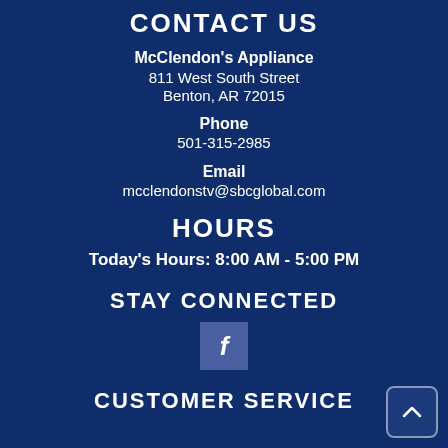CONTACT US
McClendon's Appliance
811 West South Street
Benton, AR 72015
Phone
501-315-2985
Email
mcclendonstv@sbcglobal.com
HOURS
Today's Hours: 8:00 AM - 5:00 PM
STAY CONNECTED
[Figure (logo): Facebook icon button - blue square with white letter f]
CUSTOMER SERVICE